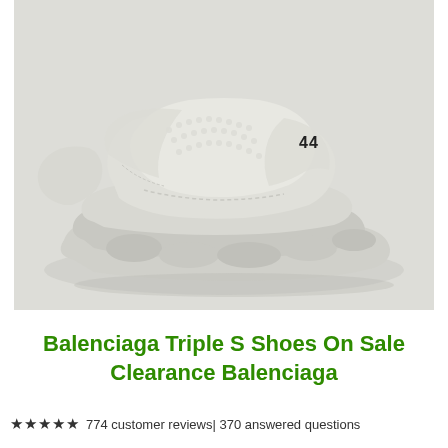[Figure (photo): Close-up photograph of a white Balenciaga Triple S sneaker showing the chunky sole and heel area with number '44' visible on the upper, against a light grey/white background.]
Balenciaga Triple S Shoes On Sale Clearance Balenciaga
★★★★★ 774 customer reviews| 370 answered questions